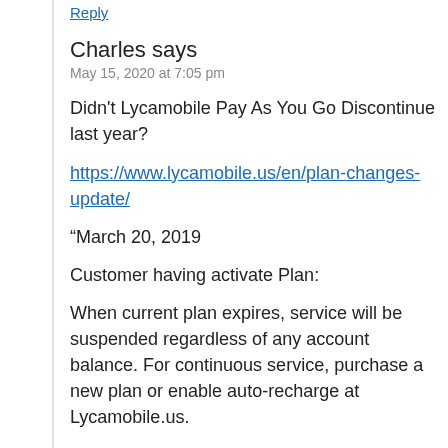Reply
Charles says
May 15, 2020 at 7:05 pm
Didn't Lycamobile Pay As You Go Discontinue last year?
https://www.lycamobile.us/en/plan-changes-update/
“March 20, 2019

Customer having activate Plan:

When current plan expires, service will be suspended regardless of any account balance. For continuous service, purchase a new plan or enable auto-recharge at Lycamobile.us.